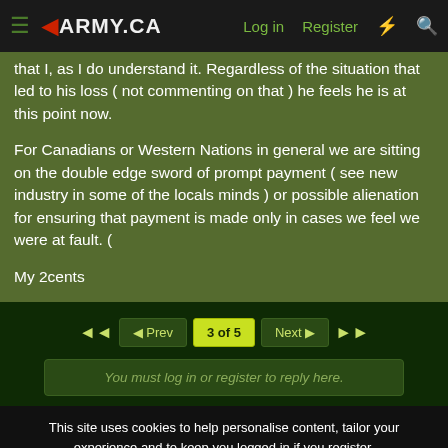ARMY.CA — Log in | Register
that I, as I do understand it. Regardless of the situation that led to his loss ( not commenting on that ) he feels he is at this point now.

For Canadians or Western Nations in general we are sitting on the double edge sword of prompt payment ( see new industry in some of the locals minds ) or possible alienation for ensuring that payment is made only in cases we feel we were at fault. (

My 2cents
3 of 5
You must log in or register to reply here.
This site uses cookies to help personalise content, tailor your experience and to keep you logged in if you register.
By continuing to use this site, you are consenting to our use of cookies.